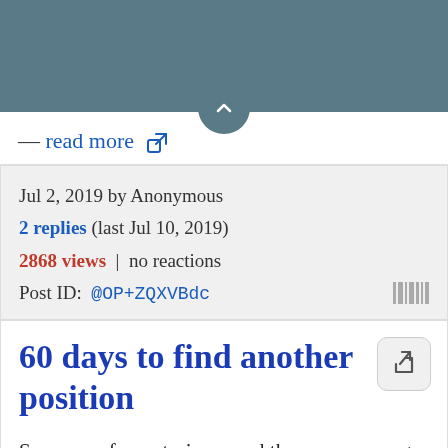— read more 🔗
Jul 2, 2019 by Anonymous
2 replies (last Jul 10, 2019)
2868 views | no reactions
Post ID: @OP+ZQXVBdc
60 days to find another position
So many of our stories sound the same; manager reading from a scripted letter spewing the same bs to everyone. Script sales declining and reduction in hours blah blah blah. I worked at a store with hours